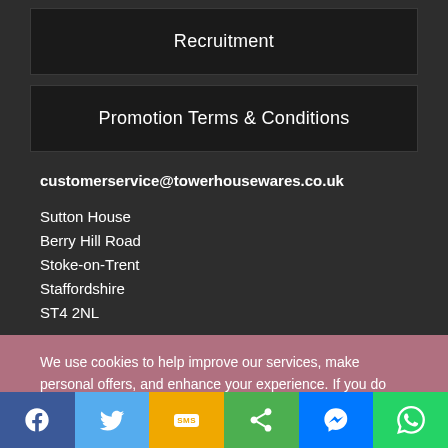Recruitment
Promotion Terms & Conditions
customerservice@towerhousewares.co.uk
Sutton House
Berry Hill Road
Stoke-on-Trent
Staffordshire
ST4 2NL
We use cookies to help improve our services, make personal offers, and enhance your experience. If you do not accept optional cookies below, your experience may be affected. If you want to know more, please read the Cookie Policy
CUSTOM